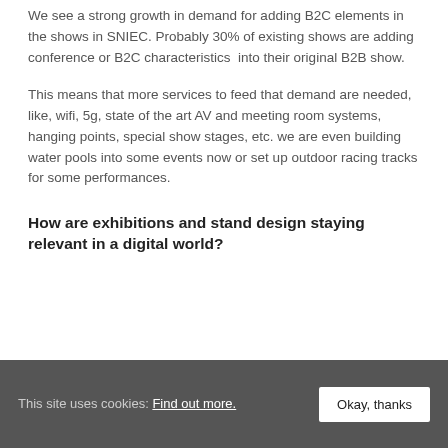We see a strong growth in demand for adding B2C elements in the shows in SNIEC. Probably 30% of existing shows are adding conference or B2C characteristics  into their original B2B show.
This means that more services to feed that demand are needed, like, wifi, 5g, state of the art AV and meeting room systems, hanging points, special show stages, etc. we are even building water pools into some events now or set up outdoor racing tracks for some performances.
How are exhibitions and stand design staying relevant in a digital world?
This site uses cookies: Find out more. Okay, thanks